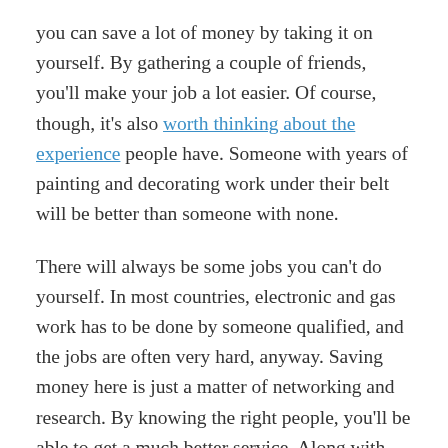you can save a lot of money by taking it on yourself. By gathering a couple of friends, you'll make your job a lot easier. Of course, though, it's also worth thinking about the experience people have. Someone with years of painting and decorating work under their belt will be better than someone with none.
There will always be some jobs you can't do yourself. In most countries, electronic and gas work has to be done by someone qualified, and the jobs are often very hard, anyway. Saving money here is just a matter of networking and research. By knowing the right people, you'll be able to get a much better service. Along with this, though, you can also do the work up to the very limit of what the law permits.
Hopefully, this post will inspire you to start working harder on the time you put into your store. When you're first opening, the way your place looks and feels can have a huge impact on the